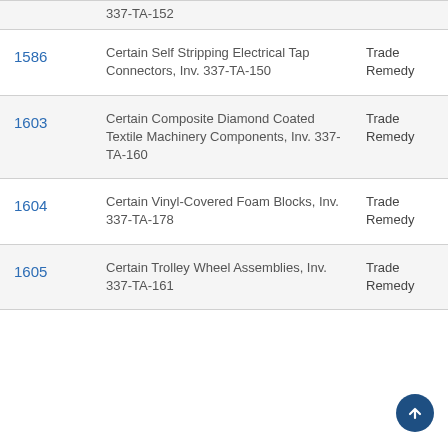| No. | Description | Type |
| --- | --- | --- |
|  | 337-TA-152 |  |
| 1586 | Certain Self Stripping Electrical Tap Connectors, Inv. 337-TA-150 | Trade Remedy |
| 1603 | Certain Composite Diamond Coated Textile Machinery Components, Inv. 337-TA-160 | Trade Remedy |
| 1604 | Certain Vinyl-Covered Foam Blocks, Inv. 337-TA-178 | Trade Remedy |
| 1605 | Certain Trolley Wheel Assemblies, Inv. 337-TA-161 | Trade Remedy |